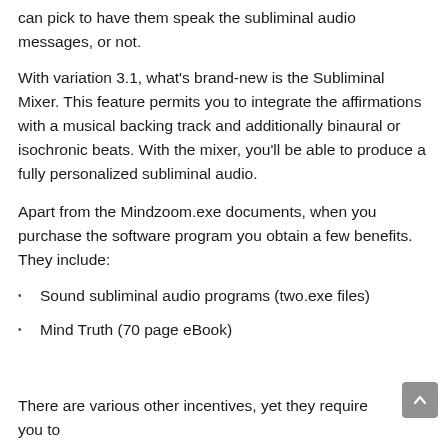can pick to have them speak the subliminal audio messages, or not.
With variation 3.1, what's brand-new is the Subliminal Mixer. This feature permits you to integrate the affirmations with a musical backing track and additionally binaural or isochronic beats. With the mixer, you'll be able to produce a fully personalized subliminal audio.
Apart from the Mindzoom.exe documents, when you purchase the software program you obtain a few benefits. They include:
Sound subliminal audio programs (two.exe files)
Mind Truth (70 page eBook)
There are various other incentives, yet they require you to